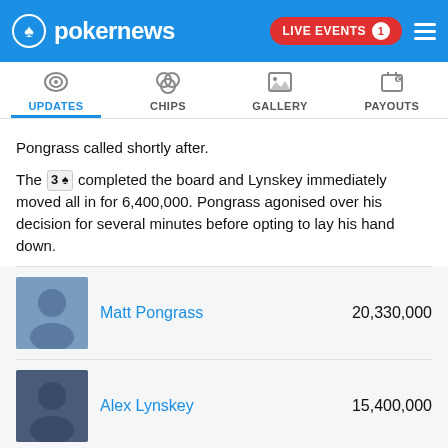pokernews — LIVE EVENTS 1
UPDATES | CHIPS | GALLERY | PAYOUTS
Pongrass called shortly after.
The 3♠ completed the board and Lynskey immediately moved all in for 6,400,000. Pongrass agonised over his decision for several minutes before opting to lay his hand down.
| Player | Chips |
| --- | --- |
| Matt Pongrass | 20,330,000 |
| Alex Lynskey | 15,400,000 |
TAGS: Alex Lynskey, Matt Pongrass